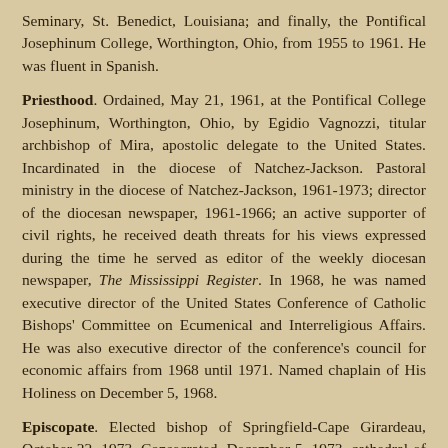Seminary, St. Benedict, Louisiana; and finally, the Pontifical Josephinum College, Worthington, Ohio, from 1955 to 1961. He was fluent in Spanish.
Priesthood. Ordained, May 21, 1961, at the Pontifical College Josephinum, Worthington, Ohio, by Egidio Vagnozzi, titular archbishop of Mira, apostolic delegate to the United States. Incardinated in the diocese of Natchez-Jackson. Pastoral ministry in the diocese of Natchez-Jackson, 1961-1973; director of the diocesan newspaper, 1961-1966; an active supporter of civil rights, he received death threats for his views expressed during the time he served as editor of the weekly diocesan newspaper, The Mississippi Register. In 1968, he was named executive director of the United States Conference of Catholic Bishops' Committee on Ecumenical and Interreligious Affairs. He was also executive director of the conference's council for economic affairs from 1968 until 1971. Named chaplain of His Holiness on December 5, 1968.
Episcopate. Elected bishop of Springfield-Cape Girardeau, October 22, 1973. Consecrated, December 5, 1973, cathedral of St. Agnes, Springfield, by Joseph Bernard Brunini, bishop of Natchez-Jackson, assisted by William Wakefield Baum, archbishop of Washington, and by Joseph Louis Bernardin, archbishop of Cincinnati. His episcopal motto was To live is Christ. From 1980 to 1982, he led a program in which Episcopal priests, some married,